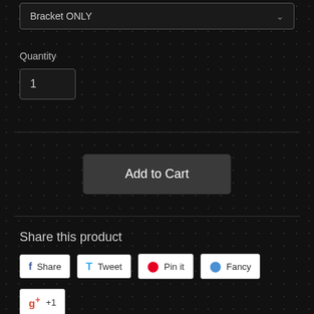Bracket ONLY
Quantity
1
Add to Cart
Share this product
Share
Tweet
Pin it
Fancy
+1